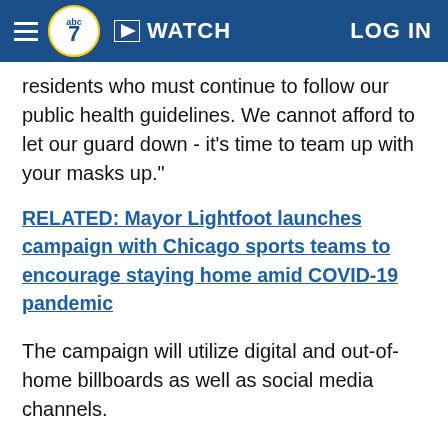abc7 | WATCH | LOG IN
residents who must continue to follow our public health guidelines. We cannot afford to let our guard down - it's time to team up with your masks up."
RELATED: Mayor Lightfoot launches campaign with Chicago sports teams to encourage staying home amid COVID-19 pandemic
The campaign will utilize digital and out-of-home billboards as well as social media channels.
Last April, Mayor Lightfoot joined each of Chicago's sports teams, Chicago Bears, Blackhawks, Bulls, Cubs, Fire, Red Stars, Sky, and White Sox, for the "We Are Not Playing" campaign to combat the spread of